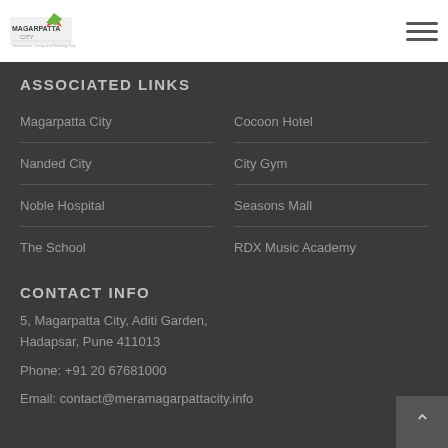Magarpatta City Logo | Hamburger menu
ASSOCIATED LINKS
Magarpatta City
Cocoon Hotel
Nanded City
City Gym
Noble Hospital
Seasons Mall
The School
RDX Music Academy
CONTACT INFO
5, Magarpatta City, Aditi Garden, Hadapsar, Pune 411013
Phone: +91 20 67681000
Email: contact@meramagarpattacity.info